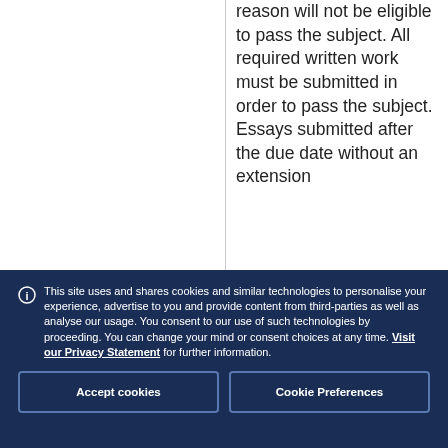reason will not be eligible to pass the subject. All required written work must be submitted in order to pass the subject. Essays submitted after the due date without an extension
This site uses and shares cookies and similar technologies to personalise your experience, advertise to you and provide content from third-parties as well as analyse our usage. You consent to our use of such technologies by proceeding. You can change your mind or consent choices at any time. Visit our Privacy Statement for further information.
Accept cookies
Cookie Preferences